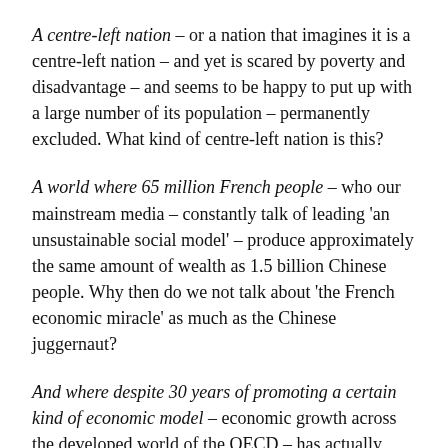A centre-left nation – or a nation that imagines it is a centre-left nation – and yet is scared by poverty and disadvantage – and seems to be happy to put up with a large number of its population – permanently excluded. What kind of centre-left nation is this?
A world where 65 million French people – who our mainstream media – constantly talk of leading 'an unsustainable social model' – produce approximately the same amount of wealth as 1.5 billion Chinese people. Why then do we not talk about 'the French economic miracle' as much as the Chinese juggernaut?
And where despite 30 years of promoting a certain kind of economic model – economic growth across the developed world of the OECD – has actually